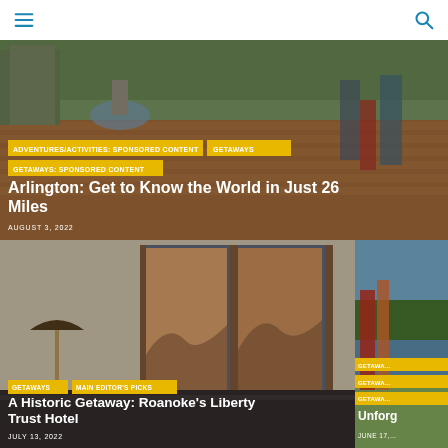Navigation bar with menu and search icons
[Figure (photo): People walking on a brick pedestrian street with fountain and shops in Arlington, Virginia]
ADVENTURES/ACTIVITIES: SPONSORED CONTENT
GETAWAYS
GETAWAYS: SPONSORED CONTENT
Arlington: Get to Know the World in Just 26 Miles
AUGUST 3, 2022
[Figure (photo): Hotel room interior with lamp and large windows showing mountain view at sunset — Roanoke's Liberty Trust Hotel]
GETAWAYS
MAIN EDITOR'S PICKS
A Historic Getaway: Roanoke's Liberty Trust Hotel
JULY 13, 2022
[Figure (photo): Partial view of a lakeside scene with colorful art installation, partially cropped]
GETAWAYS (partially visible)
Unforg… (partially visible)
JUNE 17, … (partially visible)